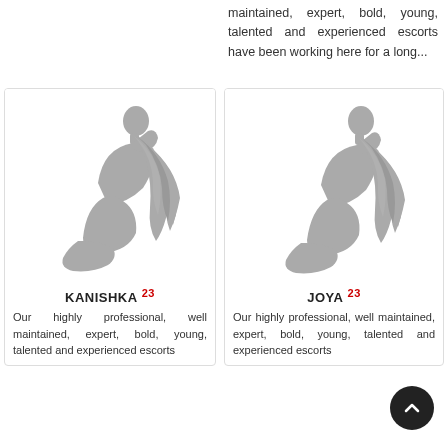maintained, expert, bold, young, talented and experienced escorts have been working here for a long...
[Figure (illustration): Grey silhouette of a kneeling woman with long hair leaning forward, on a white card background]
KANISHKA 23
Our highly professional, well maintained, expert, bold, young, talented and experienced escorts
[Figure (illustration): Grey silhouette of a kneeling woman with long hair leaning forward, on a white card background]
JOYA 23
Our highly professional, well maintained, expert, bold, young, talented and experienced escorts